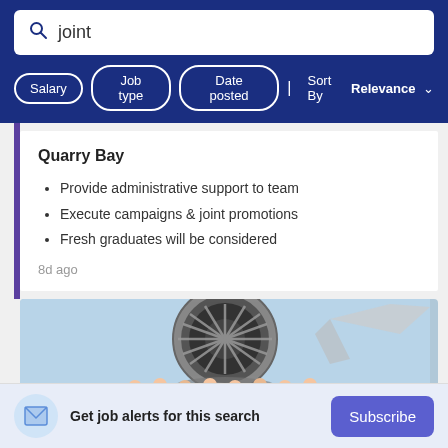joint
Salary | Job type | Date posted | Sort By Relevance
Quarry Bay
Provide administrative support to team
Execute campaigns & joint promotions
Fresh graduates will be considered
8d ago
[Figure (photo): Group of workers in blue uniforms standing in front of a large aircraft jet engine]
Get job alerts for this search
Subscribe